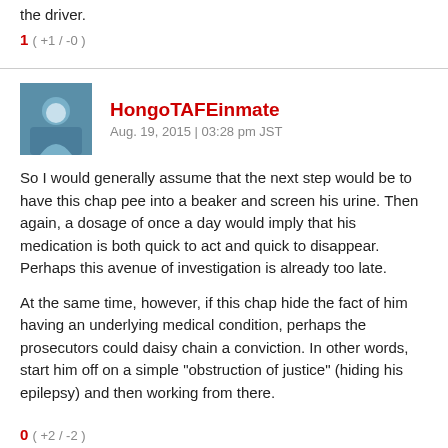the driver.
1 ( +1 / -0 )
HongoTAFEinmate
Aug. 19, 2015 | 03:28 pm JST
So I would generally assume that the next step would be to have this chap pee into a beaker and screen his urine. Then again, a dosage of once a day would imply that his medication is both quick to act and quick to disappear. Perhaps this avenue of investigation is already too late.
At the same time, however, if this chap hide the fact of him having an underlying medical condition, perhaps the prosecutors could daisy chain a conviction. In other words, start him off on a simple "obstruction of justice" (hiding his epilepsy) and then working from there.
0 ( +2 / -2 )
khulifi
Aug. 19, 2015 | 05:49 pm JST